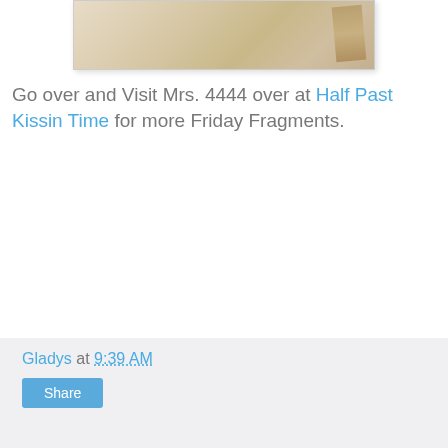[Figure (photo): Cropped photo of paper/envelope with beige/tan tones, partially visible fold at right edge]
Go over and Visit Mrs. 4444 over at Half Past Kissin Time for more Friday Fragments.
Gladys at 9:39 AM  Share